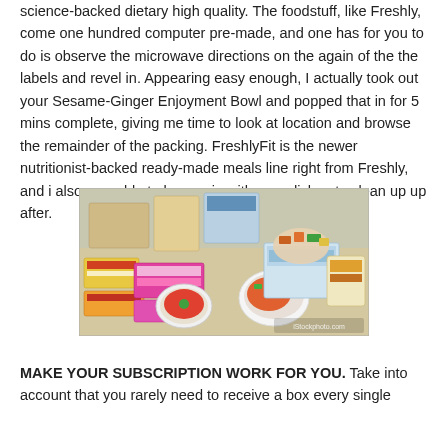science-backed dietary high quality. The foodstuff, like Freshly, come one hundred computer pre-made, and one has for you to do is observe the microwave directions on the again of the the labels and revel in. Appearing easy enough, I actually took out your Sesame-Ginger Enjoyment Bowl and popped that in for 5 mins complete, giving me time to look at location and browse the remainder of the packing. FreshlyFit is the newer nutritionist-backed ready-made meals line right from Freshly, and i also was able to burrow in with zero dishes to clean up up after.
[Figure (photo): A photo showing various packaged food items and meal containers spread out, including pre-made meal packages with colorful labels, bowls of food, and assorted food packaging.]
MAKE YOUR SUBSCRIPTION WORK FOR YOU. Take into account that you rarely need to receive a box every single